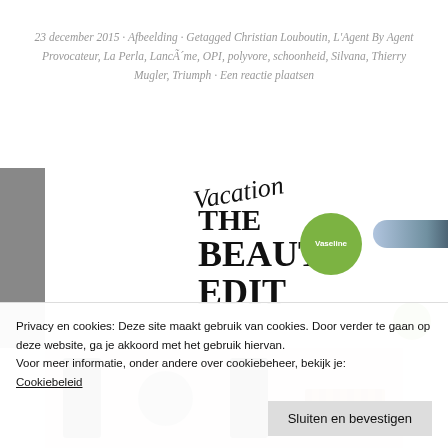23 december 2015 · Afbeelding · Getagged Christian Louboutin, L'Agent By Agent Provocateur, La Perla, Lancôme, OPI, polyvore, schoonheid, Silvana, Thierry Mugler, Triumph · Een reactie plaatsen
[Figure (photo): The Beauty Vacation Edit magazine-style image with Vaseline product, mascara tube, and other beauty products visible. Decorative handwritten text overlaid.]
Privacy en cookies: Deze site maakt gebruik van cookies. Door verder te gaan op deze website, ga je akkoord met het gebruik hiervan. Voor meer informatie, onder andere over cookiebeheer, bekijk je: Cookiebeleid
Sluiten en bevestigen